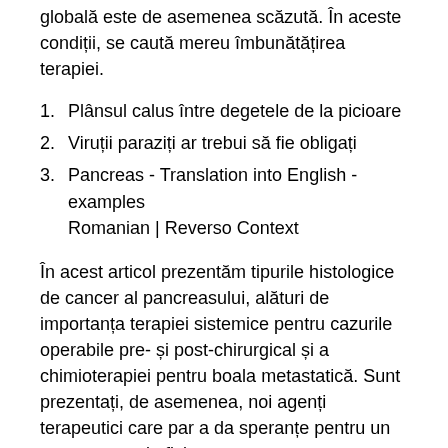globală este de asemenea scăzută. În aceste condiții, se caută mereu îmbunătățirea terapiei.
Plânsul calus între degetele de la picioare
Viruții paraziți ar trebui să fie obligați
Pancreas - Translation into English - examples Romanian | Reverso Context
În acest articol prezentăm tipurile histologice de cancer al pancreasului, alături de importanța terapiei sistemice pentru cazurile operabile pre- și post-chirurgical și a chimioterapiei pentru boala metastatică. Sunt prezentați, de asemenea, noi agenți terapeutici care par a da speranțe pentru un tratament mai eficient.
[Figure (photo): Broken image placeholder with alt text: vaccino hpv uomo dove farlo papillomavirus preservatif]
According to Pancreatic Cancer Action Network, there